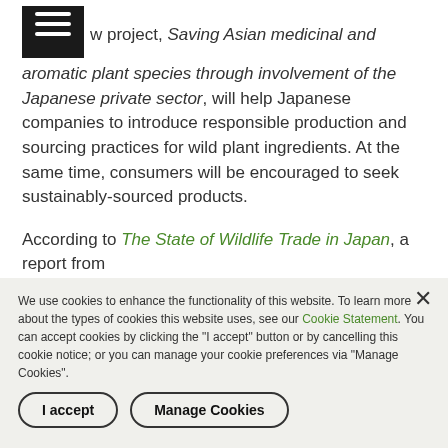w project, Saving Asian medicinal and aromatic plant species through involvement of the Japanese private sector, will help Japanese companies to introduce responsible production and sourcing practices for wild plant ingredients. At the same time, consumers will be encouraged to seek sustainably-sourced products.
According to The State of Wildlife Trade in Japan, a report from
We use cookies to enhance the functionality of this website. To learn more about the types of cookies this website uses, see our Cookie Statement. You can accept cookies by clicking the "I accept" button or by cancelling this cookie notice; or you can manage your cookie preferences via "Manage Cookies".